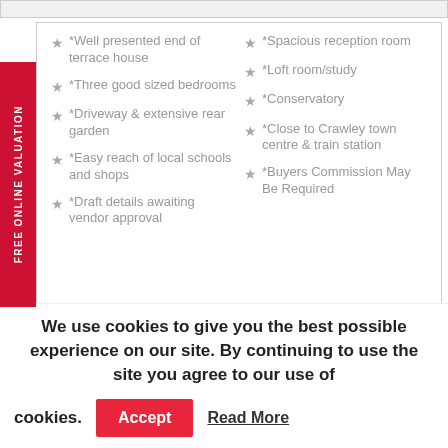★ *Well presented end of terrace house
★ *Three good sized bedrooms
★ *Driveway & extensive rear garden
★ *Easy reach of local schools and shops
★ *Draft details awaiting vendor approval
★ *Spacious reception room
★ *Loft room/study
★ *Conservatory
★ *Close to Crawley town centre & train station
★ *Buyers Commission May Be Required
*GUIDE PRICE £360,000 - £370,000*
Choices are delighted to present to the market this spacious 3
We use cookies to give you the best possible experience on our site. By continuing to use the site you agree to our use of cookies.